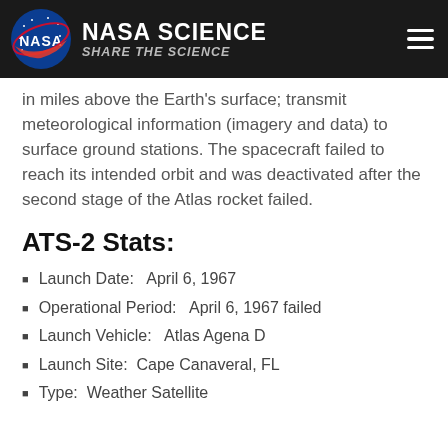NASA SCIENCE — SHARE THE SCIENCE
in miles above the Earth's surface; transmit meteorological information (imagery and data) to surface ground stations. The spacecraft failed to reach its intended orbit and was deactivated after the second stage of the Atlas rocket failed.
ATS-2 Stats:
Launch Date:   April 6, 1967
Operational Period:   April 6, 1967  failed
Launch Vehicle:   Atlas Agena D
Launch Site:  Cape Canaveral, FL
Type:  Weather Satellite